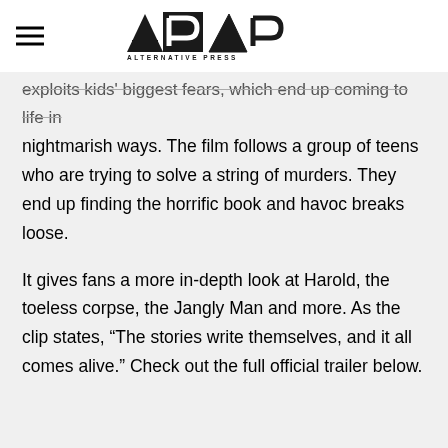Alternative Press
exploits kids' biggest fears, which end up coming to life in nightmarish ways. The film follows a group of teens who are trying to solve a string of murders. They end up finding the horrific book and havoc breaks loose.
It gives fans a more in-depth look at Harold, the toeless corpse, the Jangly Man and more. As the clip states, “The stories write themselves, and it all comes alive.” Check out the full official trailer below.